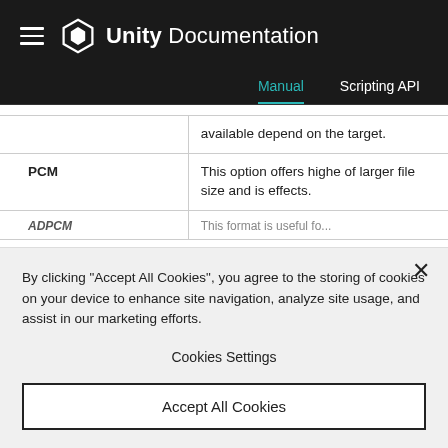Unity Documentation — Manual | Scripting API
|  | available depend on the target. |
| PCM | This option offers highe of larger file size and is effects. |
| ADPCM | This format is useful fo... |
By clicking "Accept All Cookies", you agree to the storing of cookies on your device to enhance site navigation, analyze site usage, and assist in our marketing efforts.
Cookies Settings
Accept All Cookies